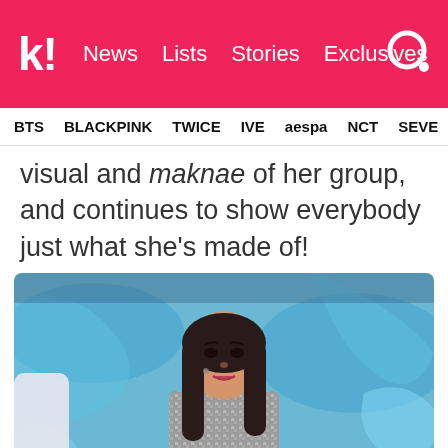k! News  Lists  Stories  Exclusives
BTS  BLACKPINK  TWICE  IVE  aespa  NCT  SEVE
visual and maknae of her group, and continues to show everybody just what she's made of!
[Figure (photo): A young Asian woman with long dark hair wearing a silver sequined outfit performing on stage with a blue artistic background.]